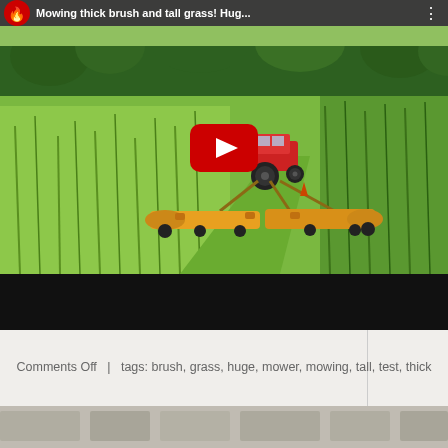[Figure (screenshot): YouTube video thumbnail showing a red tractor pulling a large yellow brush mower cutting tall grass and thick brush in an open field with trees in the background. A YouTube play button overlay is shown in the center. The video title bar at the top reads 'Mowing thick brush and tall grass! Hug...' with a YouTube logo and three-dot menu icon.]
Comments Off  |  tags: brush, grass, huge, mower, mowing, tall, test, thick